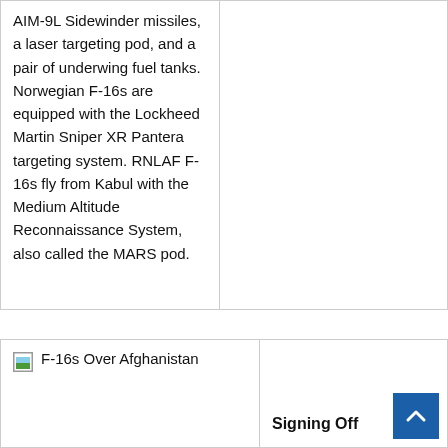AIM-9L Sidewinder missiles, a laser targeting pod, and a pair of underwing fuel tanks. Norwegian F-16s are equipped with the Lockheed Martin Sniper XR Pantera targeting system. RNLAF F-16s fly from Kabul with the Medium Altitude Reconnaissance System, also called the MARS pod.
F-16s Over Afghanistan
Signing Off